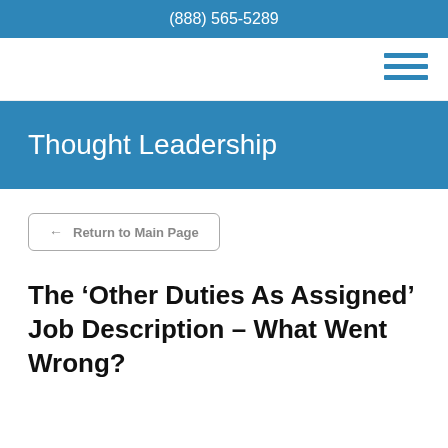(888) 565-5289
[Figure (illustration): Hamburger menu icon (three horizontal blue lines) in the top navigation bar]
Thought Leadership
← Return to Main Page
The ‘Other Duties As Assigned’ Job Description – What Went Wrong?